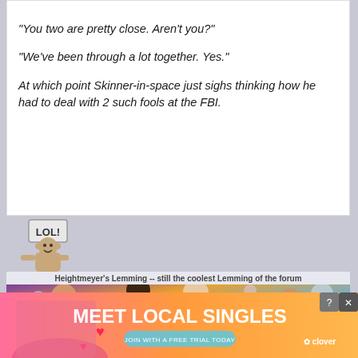"You two are pretty close. Aren't you?"

"We've been through a lot together. Yes."

At which point Skinner-in-space just sighs thinking how he had to deal with 2 such fools at the FBI.
[Figure (illustration): LOL emoji/sticker: a pixel-art monkey holding a sign that says LOL]
Heightmeyer's Lemming -- still the coolest Lemming of the forum
[Figure (photo): Doctor Who promotional image showing four cast members looking upward against a colorful cosmic background]
Proper Stargate Rewatch -- season 10 of SG-1
[Figure (infographic): Advertisement banner: MEET LOCAL SINGLES - JOIN WITH A FREE TRIAL TODAY - Clover dating app ad with woman on left side and pink/orange gradient background]